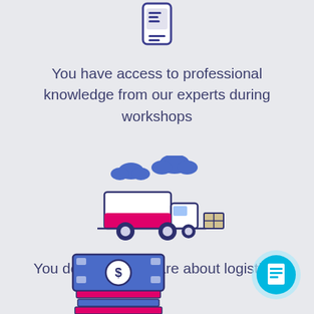[Figure (illustration): Blue smartphone/chat icon at the top center of the page]
You have access to professional knowledge from our experts during workshops
[Figure (illustration): Delivery truck icon with blue clouds above and a package box to the right, with magenta/pink accent on truck body]
You don't have to care about logistics!
[Figure (illustration): Stack of money/bills with a dollar sign and magenta book stacks beneath]
[Figure (illustration): Cyan/light blue circle button with a document/list icon in white at bottom right corner]